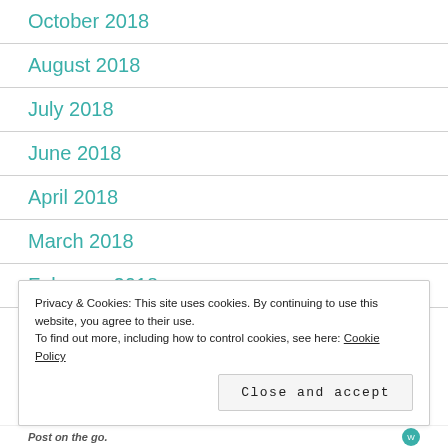October 2018
August 2018
July 2018
June 2018
April 2018
March 2018
February 2018
Privacy & Cookies: This site uses cookies. By continuing to use this website, you agree to their use. To find out more, including how to control cookies, see here: Cookie Policy
Close and accept
Post on the go.